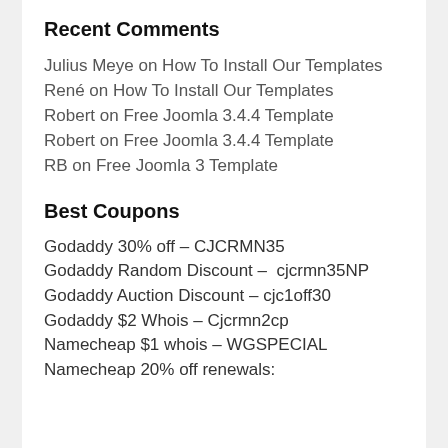Recent Comments
Julius Meye on How To Install Our Templates
René on How To Install Our Templates
Robert on Free Joomla 3.4.4 Template
Robert on Free Joomla 3.4.4 Template
RB on Free Joomla 3 Template
Best Coupons
Godaddy 30% off – CJCRMN35
Godaddy Random Discount – cjcrmn35NP
Godaddy Auction Discount – cjc1off30
Godaddy $2 Whois – Cjcrmn2cp
Namecheap $1 whois – WGSPECIAL
Namecheap 20% off renewals: